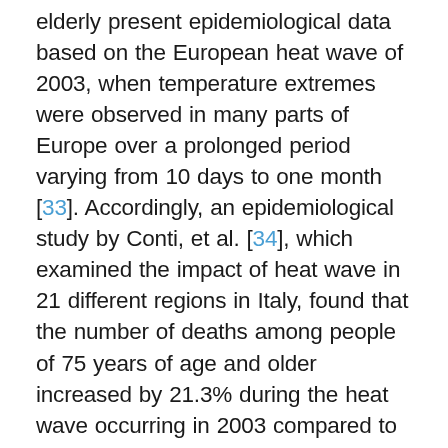elderly present epidemiological data based on the European heat wave of 2003, when temperature extremes were observed in many parts of Europe over a prolonged period varying from 10 days to one month [33]. Accordingly, an epidemiological study by Conti, et al. [34], which examined the impact of heat wave in 21 different regions in Italy, found that the number of deaths among people of 75 years of age and older increased by 21.3% during the heat wave occurring in 2003 compared to 2002, with similar mortality rates between men and women. However, the authors identified locations of high-risk such as in north-western cities of Italy where higher mortality rates were observed [34]. More precisely, elderly mortality rate was highest in Turin (44.9%), Trento (35.2%), Milan (30.6%) and Genoa (22.2%), which are generally characterized by cold weather [34].